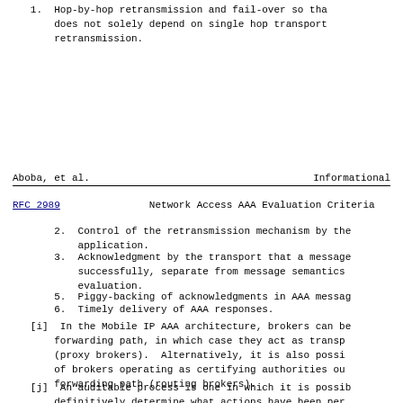1. Hop-by-hop retransmission and fail-over so that does not solely depend on single hop transport retransmission.
Aboba, et al.                    Informational
RFC 2989          Network Access AAA Evaluation Criteria
2. Control of the retransmission mechanism by the application.
3. Acknowledgment by the transport that a message successfully, separate from message semantics evaluation.
5. Piggy-backing of acknowledgments in AAA messages.
6. Timely delivery of AAA responses.
[i]  In the Mobile IP AAA architecture, brokers can be forwarding path, in which case they act as transport (proxy brokers).  Alternatively, it is also possible of brokers operating as certifying authorities outside forwarding path (routing brokers).
[j]  An auditable process is one in which it is possible definitively determine what actions have been performed by the AAA